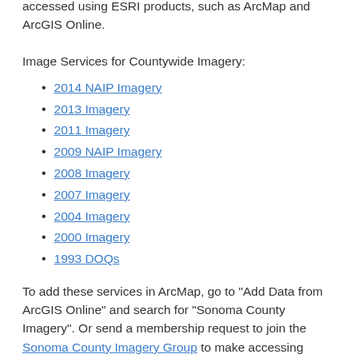accessed using ESRI products, such as ArcMap and ArcGIS Online.
Image Services for Countywide Imagery:
2014 NAIP Imagery
2013 Imagery
2011 Imagery
2009 NAIP Imagery
2008 Imagery
2007 Imagery
2004 Imagery
2000 Imagery
1993 DOQs
To add these services in ArcMap, go to "Add Data from ArcGIS Online" and search for "Sonoma County Imagery". Or send a membership request to join the Sonoma County Imagery Group to make accessing these services easy from within ESRI products. They allow you to share the content of images...